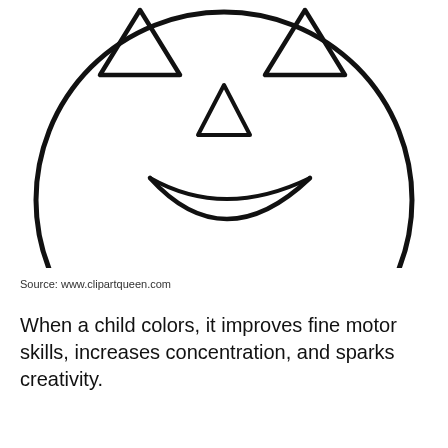[Figure (illustration): Black and white line drawing of a jack-o-lantern pumpkin face (coloring page style) showing a round circle face with two triangular eyes, a triangular nose, and a curved smile mouth. The image is cropped so the top of the pumpkin is cut off.]
Source: www.clipartqueen.com
When a child colors, it improves fine motor skills, increases concentration, and sparks creativity.